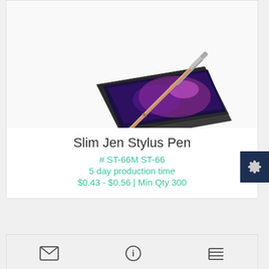[Figure (photo): A rose gold slim stylus pen resting diagonally across a dark tablet/laptop device showing a colorful interface.]
Slim Jen Stylus Pen
# ST-66M ST-66
5 day production time
$0.43 - $0.56 | Min Qty 300
[Figure (other): Three icon buttons in a light gray action bar: envelope/mail icon, info circle icon, and list/menu icon.]
[Figure (photo): Partial view of a second product — appears to be a black stylus pen shown at the bottom of the page.]